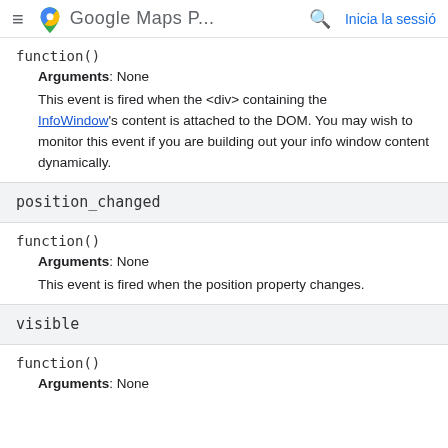Google Maps P... Inicia la sessió
function()
Arguments: None
This event is fired when the <div> containing the InfoWindow's content is attached to the DOM. You may wish to monitor this event if you are building out your info window content dynamically.
position_changed
function()
Arguments: None
This event is fired when the position property changes.
visible
function()
Arguments: None